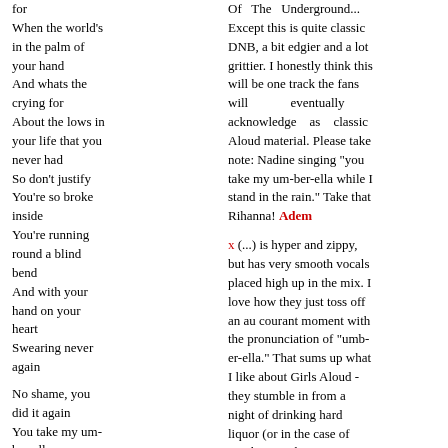for
When the world's in the palm of your hand
And whats the crying for
About the lows in your life that you never had
So don't justify
You're so broke inside
You're running round a blind bend
And with your hand on your heart
Swearing never again

No shame, you did it again
You take my um-ber-ella
While I stand in the rain
The last time
I give your mine
You knew it when you crossed the line

Sink, swim, oh where to begin
You're never gonna get it
'Cos you always give in
You're spoon fed and out on the
Of The Underground... Except this is quite classic DNB, a bit edgier and a lot grittier. I honestly think this will be one track the fans will eventually acknowledge as classic Aloud material. Please take note: Nadine singing "you take my um-ber-ella while I stand in the rain." Take that Rihanna! Adem
x (...) is hyper and zippy, but has very smooth vocals placed high up in the mix. I love how they just toss off an au courant moment with the pronunciation of "umb-er-ella." That sums up what I like about Girls Aloud - they stumble in from a night of drinking hard liquor (or in the case of Kimba, watching Love Actually or something), and they just sing the words while checking their manicures. They don't seem to question it because they kind of live it, you know? No angst here. When the songs are worthy, it's magic. xolondon